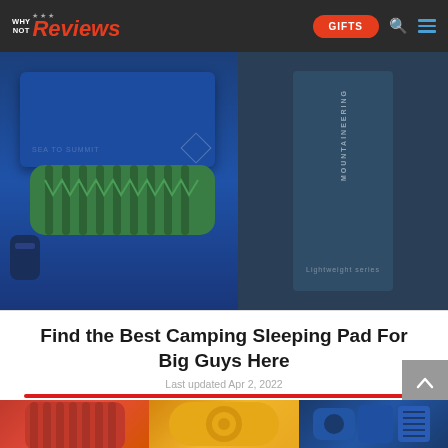WHY NOT Reviews — GIFTS
[Figure (photo): Top portion showing camping sleeping pads: a blue foam pad on dark blue background (left), a green inflatable sleeping pad in center, and dark blue sleeping pad packaging on the right with text 'MOUNTAINEERING' and 'Lightweight series']
Find the Best Camping Sleeping Pad For Big Guys Here
Last updated Apr 2, 2022
[Figure (photo): Bottom partial row of three camping sleeping pad product images: orange/red ribbed pad (left), yellow/gold quilted pad (center), navy blue folded pad with pouch (right)]